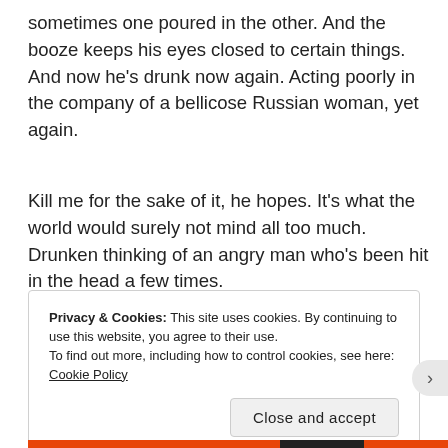sometimes one poured in the other. And the booze keeps his eyes closed to certain things. And now he's drunk now again. Acting poorly in the company of a bellicose Russian woman, yet again.
Kill me for the sake of it, he hopes. It's what the world would surely not mind all too much. Drunken thinking of an angry man who's been hit in the head a few times.
Privacy & Cookies: This site uses cookies. By continuing to use this website, you agree to their use.
To find out more, including how to control cookies, see here: Cookie Policy
Close and accept